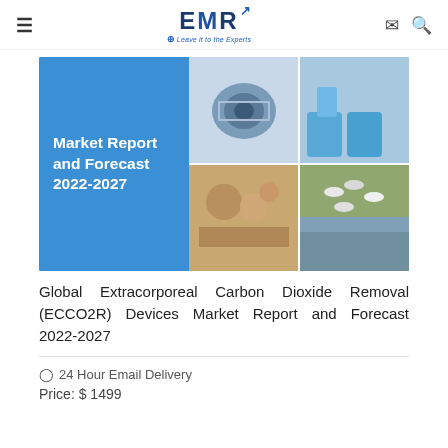EMR — Leave it to the Experts
[Figure (photo): Market Report and Forecast 2022-2027 book cover on the left (blue background with white bold text), and a collage of product/science photos on the right (including a camera lens, blue gloves/lab equipment, food items, pills, and a landscape)]
Global Extracorporeal Carbon Dioxide Removal (ECCO2R) Devices Market Report and Forecast 2022-2027
24 Hour Email Delivery
Price: $ 1499